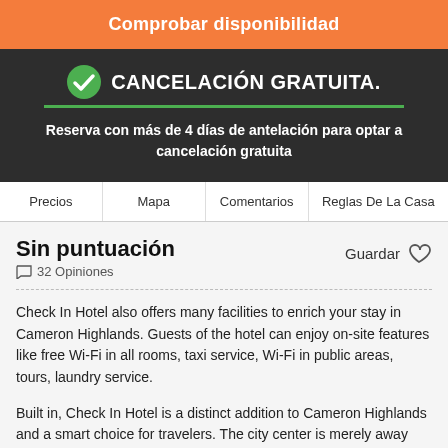Comprobar disponibilidad
CANCELACIÓN GRATUITA.
Reserva con más de 4 días de antelación para optar a cancelación gratuita
Precios | Mapa | Comentarios | Reglas De La Casa
Sin puntuación
32 Opiniones
Guardar
Check In Hotel also offers many facilities to enrich your stay in Cameron Highlands. Guests of the hotel can enjoy on-site features like free Wi-Fi in all rooms, taxi service, Wi-Fi in public areas, tours, laundry service.
Built in, Check In Hotel is a distinct addition to Cameron Highlands and a smart choice for travelers. The city center is merely away and the airport can be reached within minutes. With its convenient location, the hotel offers easy access to the city's must-see destinations.